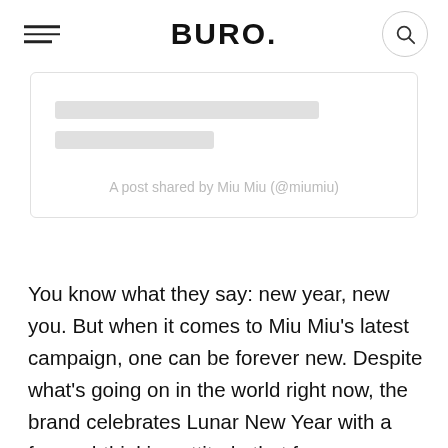BURO.
[Figure (screenshot): Instagram embed placeholder card with two skeleton loading bars and caption text: A post shared by Miu Miu (@miumiu)]
A post shared by Miu Miu (@miumiu)
You know what they say: new year, new you. But when it comes to Miu Miu’s latest campaign, one can be forever new. Despite what’s going on in the world right now, the brand celebrates Lunar New Year with a forward-thinking attitude that focuses on “bright prospects and optimistic vistas”. Sticking to the theme of the campaign, the fashion house tapped fresh faces